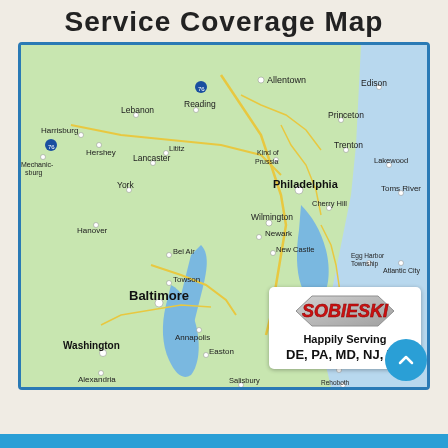Service Coverage Map
[Figure (map): Google Maps view showing Mid-Atlantic US region including Philadelphia, Baltimore, Washington DC, Wilmington, Dover, and surrounding areas in DE, PA, MD, NJ, VA. Includes Sobieski branding overlay with text 'Happily Serving DE, PA, MD, NJ, VA'.]